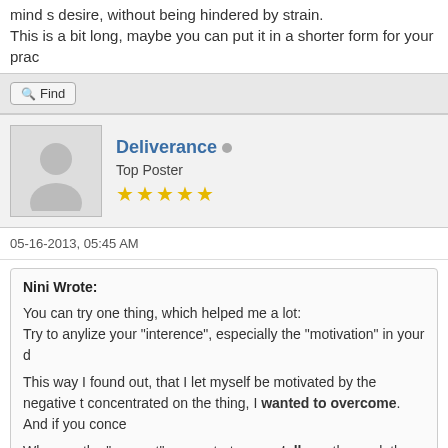mind s desire, without being hindered by strain.
This is a bit long, maybe you can put it in a shorter form for your prac
Find
Deliverance
Top Poster
★★★★★
05-16-2013, 05:45 AM
Nini Wrote:
You can try one thing, which helped me a lot:
Try to anylize your "interence", especially the "motivation" in your d

This way I found out, that I let myself be motivated by the negative t concentrated on the thing, I wanted to overcome. And if you conce

Whereas the "way out" concentrates mentally on the goal, the goa mind becomes "free" to concentrate without having to struggle agai